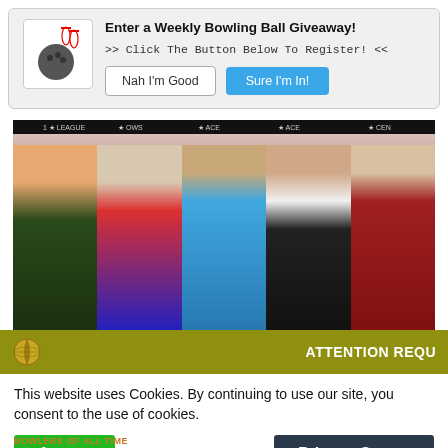[Figure (screenshot): Bowling ball giveaway popup with bowling ball and pins icon, title 'Enter a Weekly Bowling Ball Giveaway!', subtitle '>> Click The Button Below To Register! <<', and two buttons: 'Nah I'm Good' and 'Sure I'm In!']
[Figure (photo): Five women bowlers posing in front of bowling lanes with purple lane markers. One woman on the far right wears a black face mask.]
ATTENTION REQU
This website uses Cookies. By continuing to use our site, you consent to the use of cookies.
BOWLERS OF ALL TIME